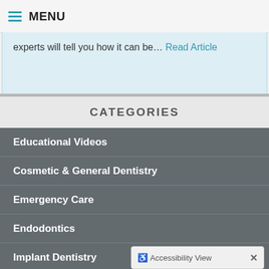MENU
experts will tell you how it can be… Read Article
CATEGORIES
Educational Videos
Cosmetic & General Dentistry
Emergency Care
Endodontics
Implant Dentistry
Oral Health